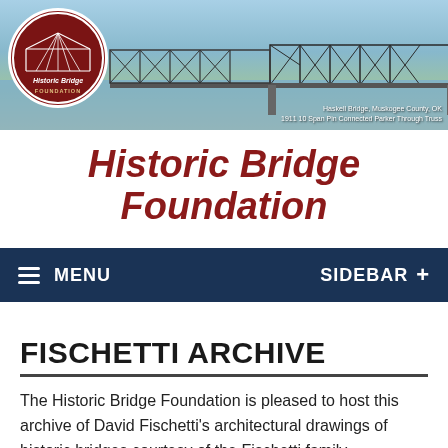[Figure (photo): Banner photo of a historic metal truss bridge over a river with blue sky, with Historic Bridge Foundation logo circle overlaid on left, and caption text bottom right.]
Historic Bridge Foundation
MENU    SIDEBAR +
FISCHETTI ARCHIVE
The Historic Bridge Foundation is pleased to host this archive of David Fischetti's architectural drawings of historic bridges courtesy of the Fischetti family.